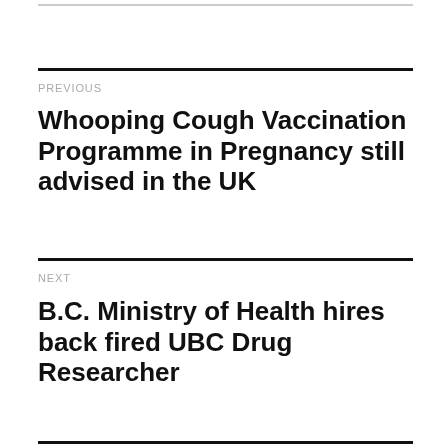PREVIOUS
Whooping Cough Vaccination Programme in Pregnancy still advised in the UK
NEXT
B.C. Ministry of Health hires back fired UBC Drug Researcher